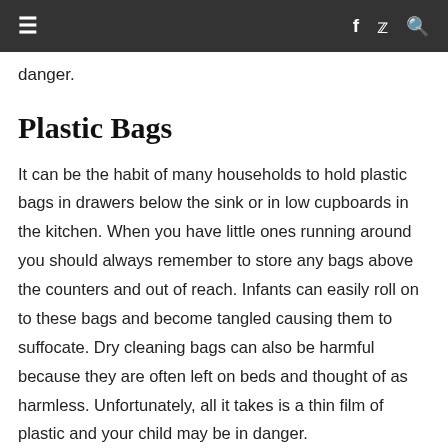≡  f  🐦  🔍
danger.
Plastic Bags
It can be the habit of many households to hold plastic bags in drawers below the sink or in low cupboards in the kitchen. When you have little ones running around you should always remember to store any bags above the counters and out of reach. Infants can easily roll on to these bags and become tangled causing them to suffocate. Dry cleaning bags can also be harmful because they are often left on beds and thought of as harmless. Unfortunately, all it takes is a thin film of plastic and your child may be in danger.